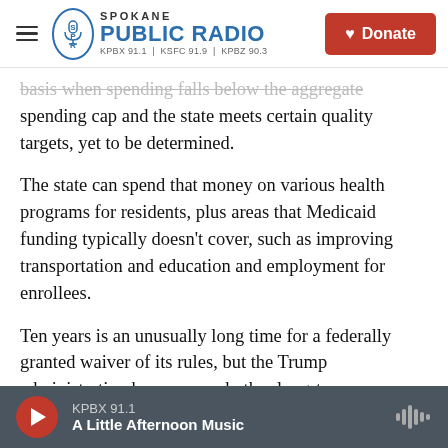Spokane Public Radio | KPBX 91.1 | KSFC 91.9 | KPBZ 90.3 | Donate
basis when spending falls below the aggregate spending cap and the state meets certain quality targets, yet to be determined.
The state can spend that money on various health programs for residents, plus areas that Medicaid funding typically doesn't cover, such as improving transportation and education and employment for enrollees.
Ten years is an unusually long time for a federally granted waiver of its rules, but the Trump administration has approved other long-term experiments in recent years to give states more
KPBX 91.1 | A Little Afternoon Music